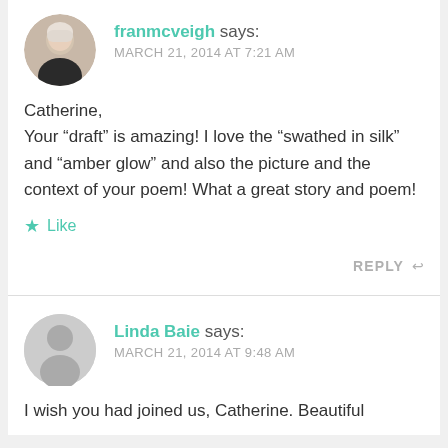[Figure (photo): Circular avatar photo of franmcveigh, a woman with short grey/blonde hair wearing dark clothing]
franmcveigh says:
MARCH 21, 2014 AT 7:21 AM
Catherine,
Your “draft” is amazing! I love the “swathed in silk” and “amber glow” and also the picture and the context of your poem! What a great story and poem!
★ Like
REPLY
[Figure (illustration): Circular grey placeholder avatar icon for Linda Baie, showing a generic person silhouette]
Linda Baie says:
MARCH 21, 2014 AT 9:48 AM
I wish you had joined us, Catherine. Beautiful